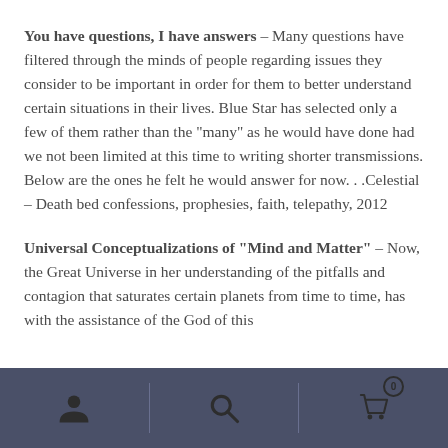You have questions, I have answers – Many questions have filtered through the minds of people regarding issues they consider to be important in order for them to better understand certain situations in their lives. Blue Star has selected only a few of them rather than the "many" as he would have done had we not been limited at this time to writing shorter transmissions. Below are the ones he felt he would answer for now. . .Celestial – Death bed confessions, prophesies, faith, telepathy, 2012
Universal Conceptualizations of "Mind and Matter" – Now, the Great Universe in her understanding of the pitfalls and contagion that saturates certain planets from time to time, has with the assistance of the God of this
[Figure (other): Mobile app bottom navigation bar with three icons: person/account icon, search/magnifying glass icon, and shopping cart icon with badge showing 0]